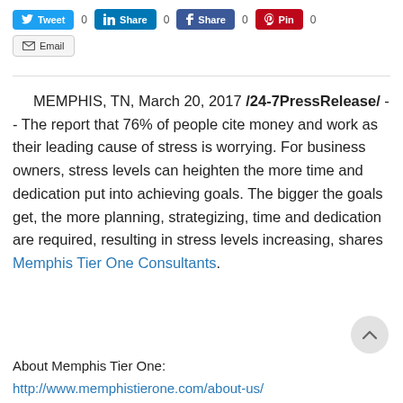[Figure (screenshot): Social sharing buttons row: Tweet (blue), Share (LinkedIn dark blue), Share (Facebook dark blue), Pin (red), each with a count of 0; Email button below]
MEMPHIS, TN, March 20, 2017 /24-7PressRelease/ -- The report that 76% of people cite money and work as their leading cause of stress is worrying. For business owners, stress levels can heighten the more time and dedication put into achieving goals. The bigger the goals get, the more planning, strategizing, time and dedication are required, resulting in stress levels increasing, shares Memphis Tier One Consultants.
About Memphis Tier One:
http://www.memphistierone.com/about-us/